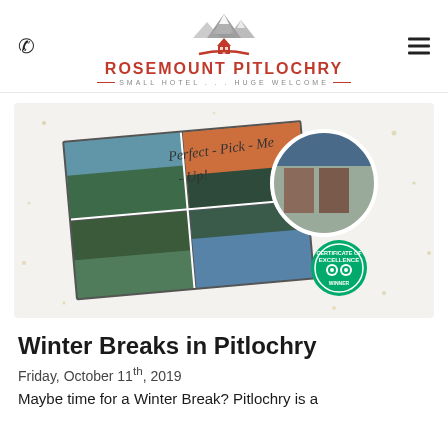ROSEMOUNT PITLOCHRY — SMALL HOTEL . . . HUGE WELCOME
[Figure (photo): Promotional collage image for Rosemount Pitlochry hotel featuring Scottish landscape photos (lochs, hills, sunset) arranged as overlapping postcards on a light speckled background, with handwritten text 'Perfect-Pick-Me-Up!', a circular photo of the hotel building, and a TripAdvisor Certificate of Excellence badge.]
Winter Breaks in Pitlochry
Friday, October 11th, 2019
Maybe time for a Winter Break? Pitlochry is a